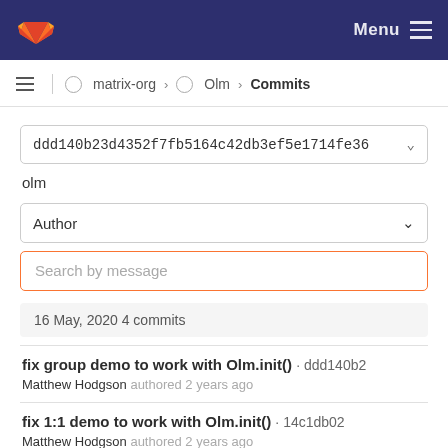Menu
matrix-org › Olm › Commits
ddd140b23d4352f7fb5164c42db3ef5e1714fe36
olm
Author
Search by message
16 May, 2020 4 commits
fix group demo to work with Olm.init() · ddd140b2
Matthew Hodgson authored 2 years ago
fix 1:1 demo to work with Olm.init() · 14c1db02
Matthew Hodgson authored 2 years ago